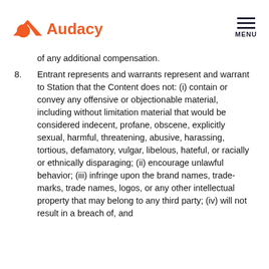Audacy — MENU
of any additional compensation.
8. Entrant represents and warrants represent and warrant to Station that the Content does not: (i) contain or convey any offensive or objectionable material, including without limitation material that would be considered indecent, profane, obscene, explicitly sexual, harmful, threatening, abusive, harassing, tortious, defamatory, vulgar, libelous, hateful, or racially or ethnically disparaging; (ii) encourage unlawful behavior; (iii) infringe upon the brand names, trade-marks, trade names, logos, or any other intellectual property that may belong to any third party; (iv) will not result in a breach of, and